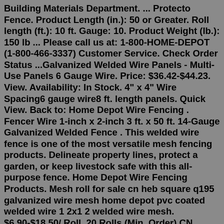Building Materials Department. ... Protecto Fence. Product Length (in.): 50 or Greater. Roll length (ft.): 10 ft. Gauge: 10. Product Weight (lb.): 150 lb ... Please call us at: 1-800-HOME-DEPOT (1-800-466-3337) Customer Service. Check Order Status ...Galvanized Welded Wire Panels - Multi-Use Panels 6 Gauge Wire. Price: $36.42-$44.23. View. Availability: In Stock. 4" x 4" Wire Spacing6 gauge wire8 ft. length panels. Quick View. Back to: Home Depot Wire Fencing . Fencer Wire 1-inch x 2-inch 3 ft. x 50 ft. 14-Gauge Galvanized Welded Fence . This welded wire fence is one of the most versatile mesh fencing products. Delineate property lines, protect a garden, or keep livestock safe with this all-purpose fence. Home Depot Wire Fencing Products. Mesh roll for sale cn heb square q195 galvanized wire mesh home depot pvc coated welded wire 1 2x1 2 welded wire mesh. $6.90-$18.50/ Roll. 20 Rolls (Min. Order) CN Hebei Ruihao Metal Products Co., Ltd. 8 YRS.Some uncommon rolls include 5 x 100 1/2x1/2 welded wire fence black. 7 ½ x 100ft rolls of 1x1 welded wire fence